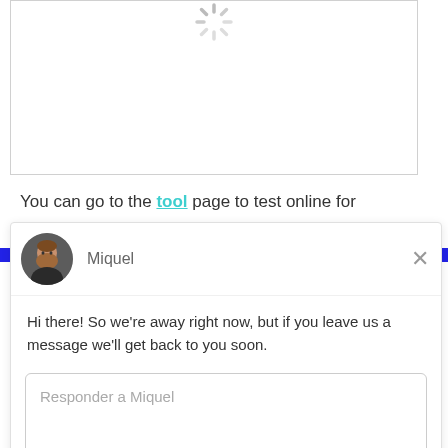[Figure (screenshot): Loading spinner inside a white bordered box at the top of the page]
You can go to the tool page to test online for free.
[Figure (screenshot): Chat widget from Drift with avatar of Miquel, message saying Hi there! So we're away right now, but if you leave us a message we'll get back to you soon., reply input field labeled Responder a Miquel, and footer Chat por Drift]